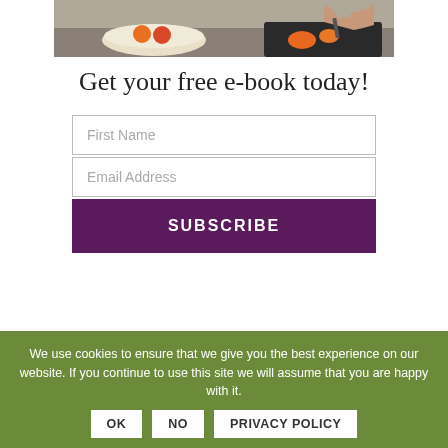[Figure (photo): Kitchen scene with a white bowl containing oranges and a cutting board with fruit being sliced, hands visible]
Get your free e-book today!
First Name
Email Address
SUBSCRIBE
We use cookies to ensure that we give you the best experience on our website. If you continue to use this site we will assume that you are happy with it.
OK | NO | PRIVACY POLICY